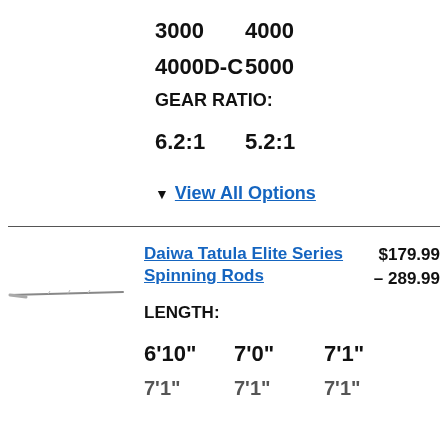3000   4000
4000D-C   5000
GEAR RATIO:
6.2:1   5.2:1
▼ View All Options
Daiwa Tatula Elite Series Spinning Rods   $179.99 – 289.99
LENGTH:
6'10"   7'0"   7'1"